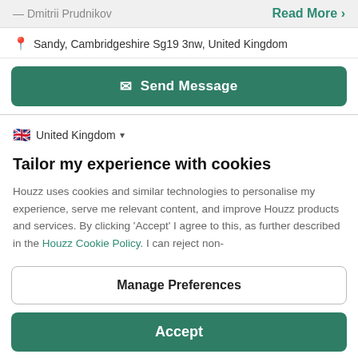— Dmitrii Prudnikov   Read More ›
Sandy, Cambridgeshire Sg19 3nw, United Kingdom
Send Message
United Kingdom
Tailor my experience with cookies
Houzz uses cookies and similar technologies to personalise my experience, serve me relevant content, and improve Houzz products and services. By clicking 'Accept' I agree to this, as further described in the Houzz Cookie Policy. I can reject non-
Manage Preferences
Accept